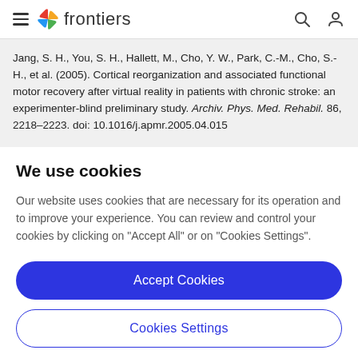frontiers
Jang, S. H., You, S. H., Hallett, M., Cho, Y. W., Park, C.-M., Cho, S.-H., et al. (2005). Cortical reorganization and associated functional motor recovery after virtual reality in patients with chronic stroke: an experimenter-blind preliminary study. Archiv. Phys. Med. Rehabil. 86, 2218–2223. doi: 10.1016/j.apmr.2005.04.015
We use cookies
Our website uses cookies that are necessary for its operation and to improve your experience. You can review and control your cookies by clicking on "Accept All" or on "Cookies Settings".
Accept Cookies
Cookies Settings